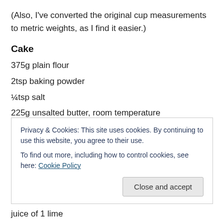(Also, I've converted the original cup measurements to metric weights, as I find it easier.)
Cake
375g plain flour
2tsp baking powder
¼tsp salt
225g unsalted butter, room temperature
350g caster sugar
4 large eggs
2tsp vanilla extract (partially obscured)
Privacy & Cookies: This site uses cookies. By continuing to use this website, you agree to their use. To find out more, including how to control cookies, see here: Cookie Policy
juice of 1 lime